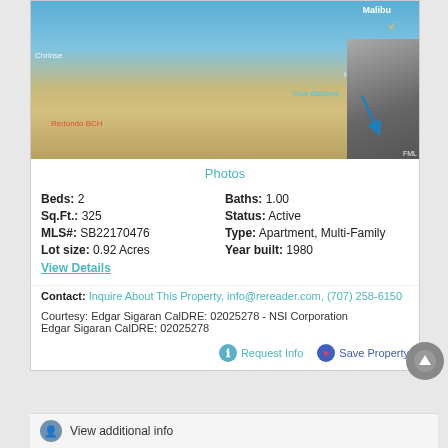[Figure (photo): Beach view photo showing ocean, sandy beach, and balcony railing with annotated labels: Malibu, Chrinse, Hermosa BCH, Your Balcony, Redondo BCH, FML]
Photos
Beds: 2   Baths: 1.00
Sq.Ft.: 325   Status: Active
MLS#: SB22170476   Type: Apartment, Multi-Family
Lot size: 0.92 Acres   Year built: 1980
View Details
Contact: Inquire About This Property, info@rereader.com, (707) 258-6150
Courtesy: Edgar Sigaran CalDRE: 02025278 - NSI Corporation
Edgar Sigaran CalDRE: 02025278
Request Info   Save Property
View additional info